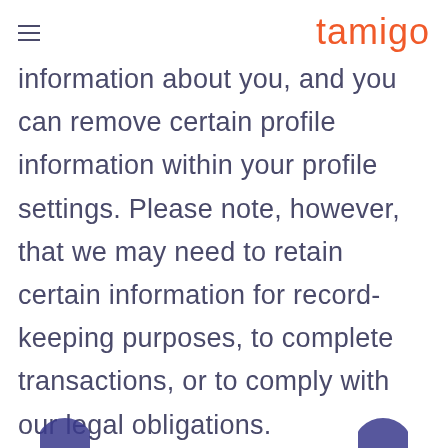tamigo
information about you, and you can remove certain profile information within your profile settings. Please note, however, that we may need to retain certain information for record-keeping purposes, to complete transactions, or to comply with our legal obligations.